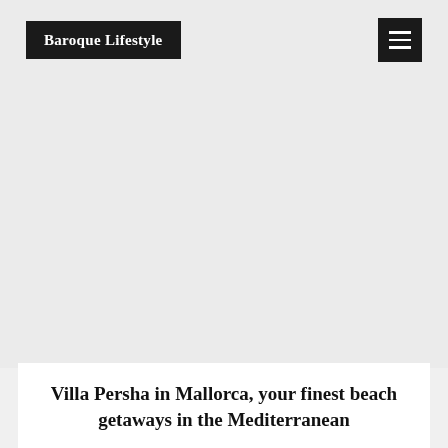Baroque Lifestyle
[Figure (photo): Large image area placeholder, light gray background representing a beach/Mediterranean villa photo]
Villa Persha in Mallorca, your finest beach getaways in the Mediterranean